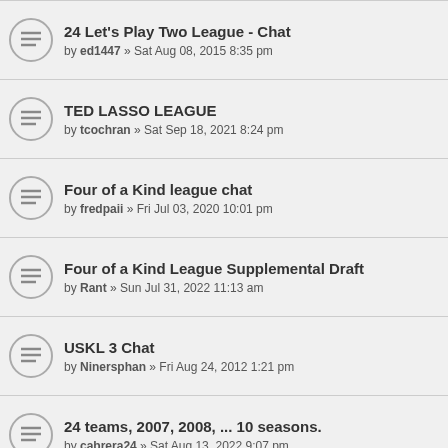24 Let's Play Two League - Chat
by ed1447 » Sat Aug 08, 2015 8:35 pm
TED LASSO LEAGUE
by tcochran » Sat Sep 18, 2021 8:24 pm
Four of a Kind league chat
by fredpaii » Fri Jul 03, 2020 10:01 pm
Four of a Kind League Supplemental Draft
by Rant » Sun Jul 31, 2022 11:13 am
USKL 3 Chat
by Ninersphan » Fri Aug 24, 2012 1:21 pm
24 teams, 2007, 2008, ... 10 seasons.
by cabrera24 » Sat Aug 13, 2022 9:07 pm
Display topics from previous: All Topics
NEW TOPIC *
< Return to Board index
WHO IS ONLINE